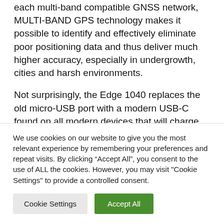each multi-band compatible GNSS network, MULTI-BAND GPS technology makes it possible to identify and effectively eliminate poor positioning data and thus deliver much higher accuracy, especially in undergrowth, cities and harsh environments.
Not surprisingly, the Edge 1040 replaces the old micro-USB port with a modern USB-C found on all modern devices that will charge
We use cookies on our website to give you the most relevant experience by remembering your preferences and repeat visits. By clicking “Accept All”, you consent to the use of ALL the cookies. However, you may visit "Cookie Settings" to provide a controlled consent.